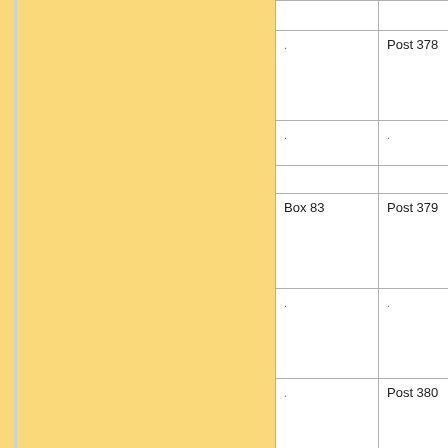|  |  |
| --- | --- |
|  |  |
| . | Post 378 |
| . | . |
|  |  |
| Box 83 | Post 379 |
| . | . |
| . | Post 380 |